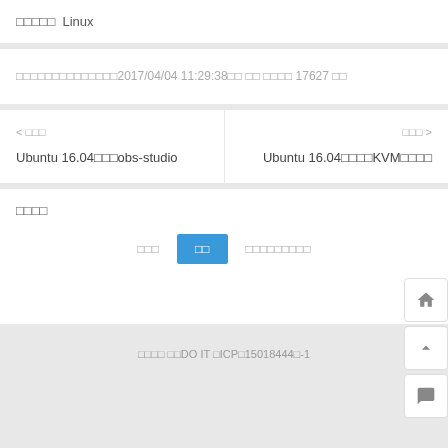□□□□□ Linux
□□□□□□□□□□□□□□2017/04/04 11:29:38□□ □□ □□□□ 17627 □□
< □□□
Ubuntu 16.04□□□obs-studio
□□□ >
Ubuntu 16.04□□□□KVM□□□□□
□□□□
□□□  □□  □□□□□□□□□
□□□□ □□DO IT □ICP□15018444□-1